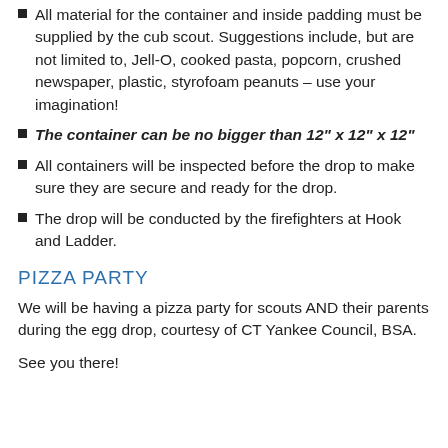All material for the container and inside padding must be supplied by the cub scout. Suggestions include, but are not limited to, Jell-O, cooked pasta, popcorn, crushed newspaper, plastic, styrofoam peanuts – use your imagination!
The container can be no bigger than 12" x 12" x 12"
All containers will be inspected before the drop to make sure they are secure and ready for the drop.
The drop will be conducted by the firefighters at Hook and Ladder.
PIZZA PARTY
We will be having a pizza party for scouts AND their parents during the egg drop, courtesy of CT Yankee Council, BSA.
See you there!